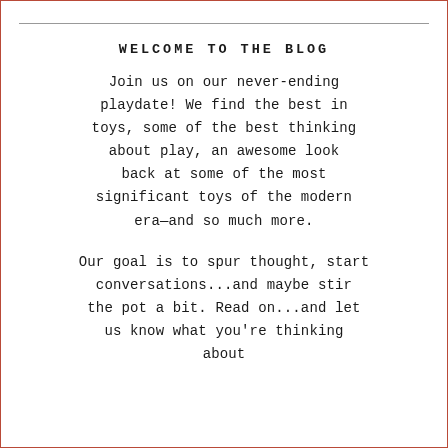WELCOME TO THE BLOG
Join us on our never-ending playdate! We find the best in toys, some of the best thinking about play, an awesome look back at some of the most significant toys of the modern era—and so much more.
Our goal is to spur thought, start conversations...and maybe stir the pot a bit. Read on...and let us know what you're thinking about